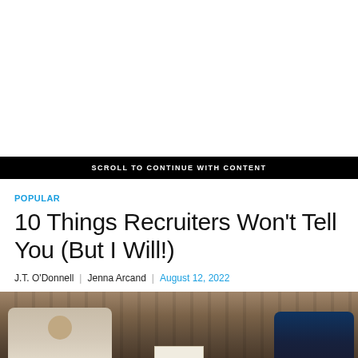[Figure (other): Advertisement / blank white space area at top of page]
SCROLL TO CONTINUE WITH CONTENT
POPULAR
10 Things Recruiters Won't Tell You (But I Will!)
J.T. O'Donnell  |  Jenna Arcand  |  August 12, 2022
[Figure (photo): Photo of two people sitting across from each other at a wooden table, one in a white shirt and one in a dark jacket, appearing to be in a job interview or meeting setting]